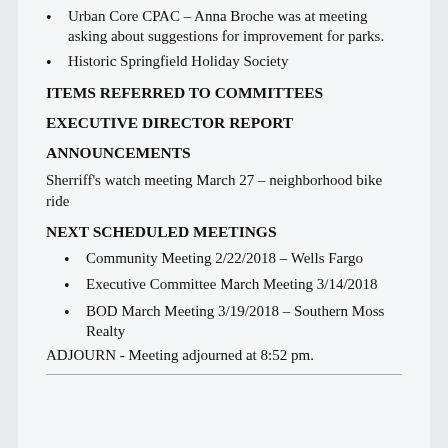Urban Core CPAC – Anna Broche was at meeting asking about suggestions for improvement for parks.
Historic Springfield Holiday Society
ITEMS REFERRED TO COMMITTEES
EXECUTIVE DIRECTOR REPORT
ANNOUNCEMENTS
Sherriff's watch meeting March 27 – neighborhood bike ride
NEXT SCHEDULED MEETINGS
Community Meeting 2/22/2018 – Wells Fargo
Executive Committee March Meeting 3/14/2018
BOD March Meeting 3/19/2018 – Southern Moss Realty
ADJOURN - Meeting adjourned at 8:52 pm.